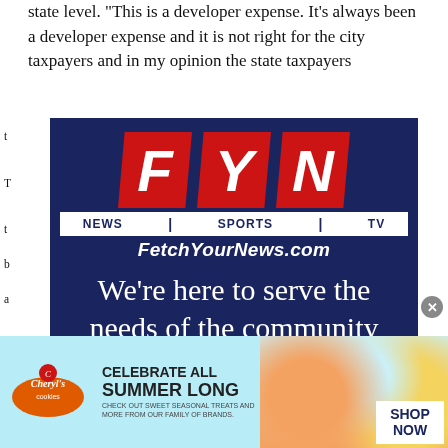state level. "This is a developer expense. It's always been a developer expense and it is not right for the city taxpayers and in my opinion the state taxpayers
[Figure (logo): FYN (Fetch Your News) advertisement. Dark navy blue background with red and white FYN letters logo, NEWS | SPORTS | TV bar, FetchYourNews.com URL, tagline 'We're here to serve the needs of the community', and subtext 'You can help in that mission by becoming a']
[Figure (photo): Cheryl's Cookies advertisement banner with light blue background. Features Cheryl's Cookies logo, text 'CELEBRATE ALL SUMMER LONG', photo of colorful summer treats and snacks, and 'SHOP NOW' call to action.]